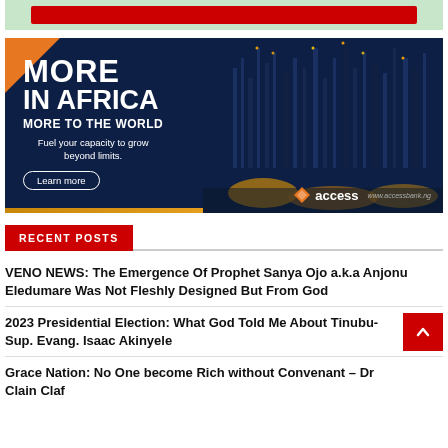[Figure (infographic): Top red banner advertisement strip]
[Figure (infographic): Access Bank advertisement banner: MORE IN AFRICA MORE TO THE WORLD - Fuel your capacity to grow beyond limits. Learn more. Night-time oil refinery photo on right side with Access Bank logo.]
RECENT POSTS
VENO NEWS: The Emergence Of Prophet Sanya Ojo a.k.a Anjonu Eledumare Was Not Fleshly Designed But From God
2023 Presidential Election: What God Told Me About Tinubu- Sup. Evang. Isaac Akinyele
Grace Nation: No One become Rich without Convenant – Dr Clain Claf